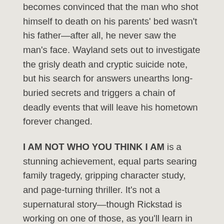becomes convinced that the man who shot himself to death on his parents' bed wasn't his father—after all, he never saw the man's face. Wayland sets out to investigate the grisly death and cryptic suicide note, but his search for answers unearths long-buried secrets and triggers a chain of deadly events that will leave his hometown forever changed.
I AM NOT WHO YOU THINK I AM is a stunning achievement, equal parts searing family tragedy, gripping character study, and page-turning thriller. It's not a supernatural story—though Rickstad is working on one of those, as you'll learn in the interview below—but the ghost of gothic thrillers lurks around every sharp bend of the meticulously crafted, pitch-black plot.
In his latest interview with The Big Thrill, Rickstad pulls back the curtain on his writing process, delves into the